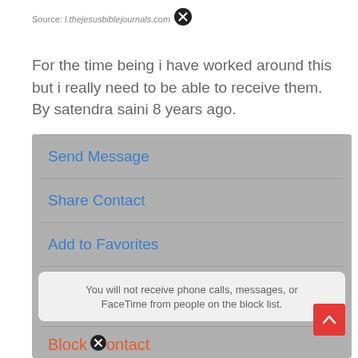Source: l.thejesusbiblejournals.com
For the time being i have worked around this but i really need to be able to receive them. By satendra saini 8 years ago.
[Figure (screenshot): iOS contact action menu screenshot showing options: Send Message, Share Contact, Add to Favorites, with a notification 'You will not receive phone calls, messages, or FaceTime from people on the block list.' and Block Contact option at the bottom. Overlaid with a red scroll-to-top button.]